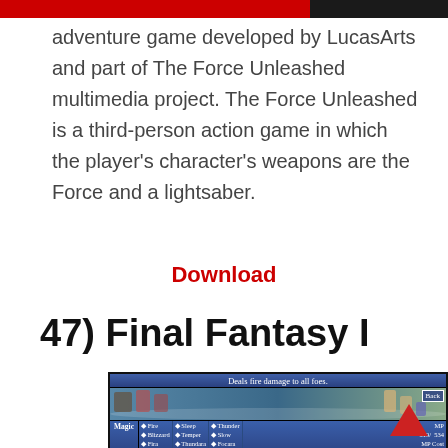adventure game developed by LucasArts and part of The Force Unleashed multimedia project. The Force Unleashed is a third-person action game in which the player's character's weapons are the Force and a lightsaber.
Download
47) Final Fantasy I
[Figure (screenshot): Screenshot from Final Fantasy I mobile game showing a battle scene. Characters fight near a shoreline. UI shows Magic menu with spells: Fire, Blizzard, Fira, Blizzara on left; Sleep, Temper, Thundara, Haste in middle-left; Thunder, Slow, Focara, Confuse in middle-right; MP 519/534, MP Cost 15 on right. Header reads 'Deals fire damage to all foes.' Back button visible.]